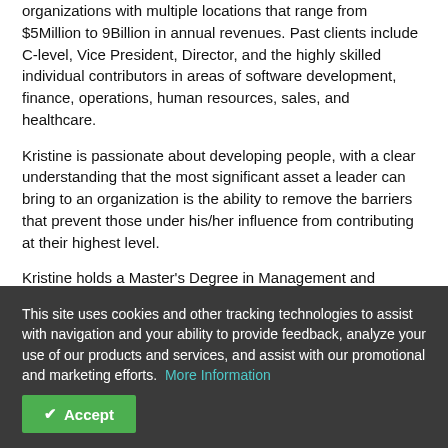organizations with multiple locations that range from $5Million to 9Billion in annual revenues. Past clients include C-level, Vice President, Director, and the highly skilled individual contributors in areas of software development, finance, operations, human resources, sales, and healthcare.
Kristine is passionate about developing people, with a clear understanding that the most significant asset a leader can bring to an organization is the ability to remove the barriers that prevent those under his/her influence from contributing at their highest level.
Kristine holds a Master's Degree in Management and Administrative Sciences with a concentration in Organization Behavior and Executive Coaching from the University of Texas at Dallas. Kristine is also certified by the International Coach Federation as a Professional Certified Coach (PCC).
This site uses cookies and other tracking technologies to assist with navigation and your ability to provide feedback, analyze your use of our products and services, and assist with our promotional and marketing efforts.  More Information  Accept